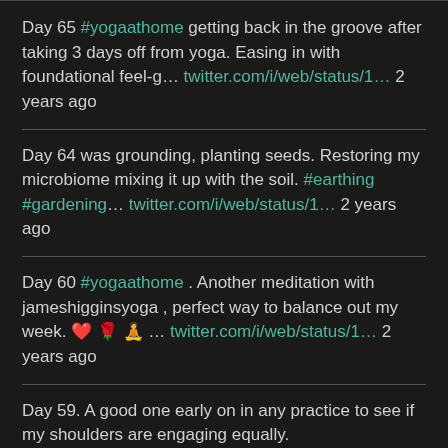Day 65 #yogaathome getting back in the groove after taking 3 days off from yoga. Easing in with foundational feel-g… twitter.com/i/web/status/1… 2 years ago
Day 64 was grounding, planting seeds. Restoring my microbiome mixing it up with the soil. #earthing #gardening… twitter.com/i/web/status/1… 2 years ago
Day 60 #yogaathome . Another meditation with jameshigginsyoga , perfect way to balance out my week. ❤️ 🌹 🧘 … twitter.com/i/web/status/1… 2 years ago
Day 59. A good one early on in any practice to see if my shoulders are engaging equally. #ashtangayoga… twitter.com/i/web/status/1… 2 years ago
Follow @yogarobin108